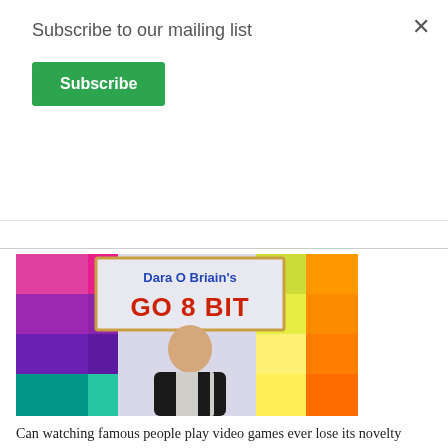Subscribe to our mailing list
Subscribe
[Figure (photo): TV show promotional image showing host Dara O Briain standing in front of a colorful pixelated backdrop with the show title 'Dara O Briain's GO 8 BIT' displayed in large red pixel-style letters on a light banner. The background features multi-colored pixel blocks in purple, green, teal, yellow, and orange.]
Can watching famous people play video games ever lose its novelty value? It shows no sign of doing so in Season 3 of Go 8 Bit, UKTV's brilliantly silly computing contest. Pitching celebrities against each other on revolving sofas, it's the kind of series that